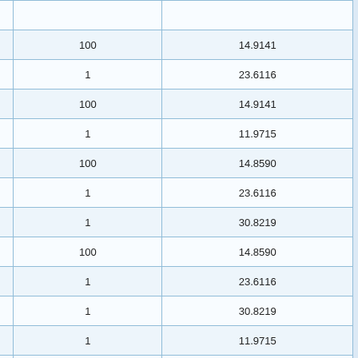| Currency Code / Flag | Currency Name | Unit | Rate |
| --- | --- | --- | --- |
| BRL |  |  |  |
| AMD | Armenian Dram | 100 | 14.9141 |
| BYN | Belarusian Ruble | 1 | 23.6116 |
| AMD | Armenian Dram | 100 | 14.9141 |
| BRL | Brazilian Real | 1 | 11.9715 |
| HUF | Hungarian Forint | 100 | 14.8590 |
| BYN | Belarusian Ruble | 1 | 23.6116 |
| BGN | Bulgarian Lev | 1 | 30.8219 |
| HUF | Hungarian Forint | 100 | 14.8590 |
| BYN | Belarusian Ruble | 1 | 23.6116 |
| BGN | Bulgarian Lev | 1 | 30.8219 |
| BRL | Brazilian Real | 1 | 11.9715 |
| HKD | Hong Kong Dollar | 10 | 77.0488 |
| BGN | Bulgarian Lev | 1 | 30.8219 |